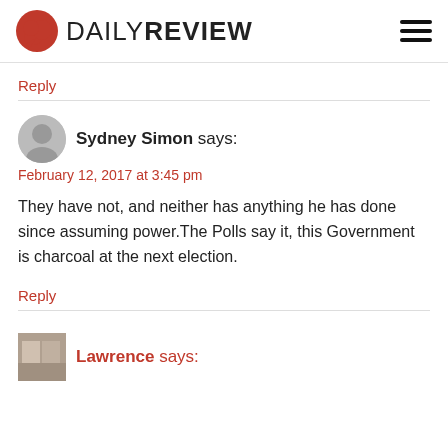DAILY REVIEW
Reply
Sydney Simon says:
February 12, 2017 at 3:45 pm
They have not, and neither has anything he has done since assuming power.The Polls say it, this Government is charcoal at the next election.
Reply
Lawrence says: